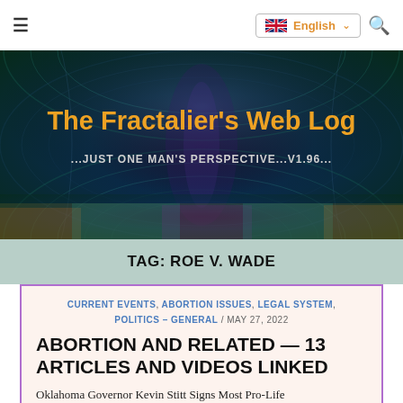≡  English  ∨  🔍
[Figure (illustration): Hero banner with fractal psychedelic art background (teal/blue/purple swirling fractal patterns) containing the blog title 'The Fractalier's Web Log' in bold orange text and subtitle '...JUST ONE MAN'S PERSPECTIVE...V1.96...' in light grey text]
The Fractalier's Web Log
...JUST ONE MAN'S PERSPECTIVE...V1.96...
TAG: ROE V. WADE
CURRENT EVENTS, ABORTION ISSUES, LEGAL SYSTEM, POLITICS – GENERAL / MAY 27, 2022
ABORTION AND RELATED — 13 ARTICLES AND VIDEOS LINKED
Oklahoma Governor Kevin Stitt Signs Most Pro-Life